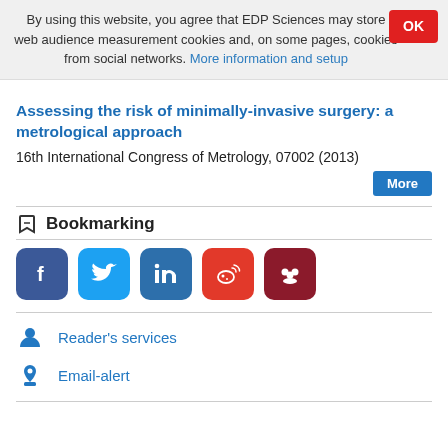By using this website, you agree that EDP Sciences may store web audience measurement cookies and, on some pages, cookies from social networks. More information and setup
Assessing the risk of minimally-invasive surgery: a metrological approach
16th International Congress of Metrology, 07002 (2013)
Bookmarking
[Figure (other): Social media bookmarking icons: Facebook, Twitter, LinkedIn, Weibo, Mendeley]
Reader's services
Email-alert